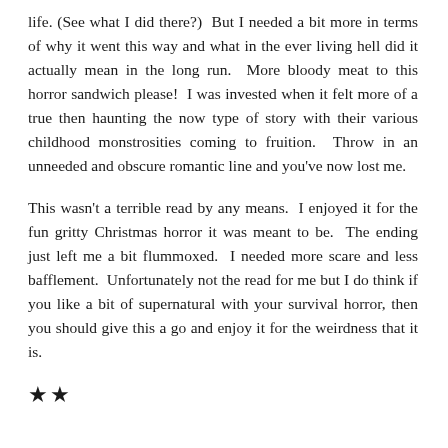life. (See what I did there?)  But I needed a bit more in terms of why it went this way and what in the ever living hell did it actually mean in the long run.  More bloody meat to this horror sandwich please!  I was invested when it felt more of a true then haunting the now type of story with their various childhood monstrosities coming to fruition.  Throw in an unneeded and obscure romantic line and you've now lost me.
This wasn't a terrible read by any means.  I enjoyed it for the fun gritty Christmas horror it was meant to be.  The ending just left me a bit flummoxed.  I needed more scare and less bafflement.  Unfortunately not the read for me but I do think if you like a bit of supernatural with your survival horror, then you should give this a go and enjoy it for the weirdness that it is.
★★